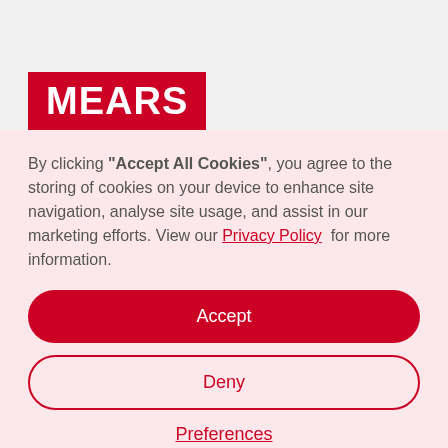MEARS
By clicking "Accept All Cookies", you agree to the storing of cookies on your device to enhance site navigation, analyse site usage, and assist in our marketing efforts. View our Privacy Policy for more information.
Accept
Deny
Preferences